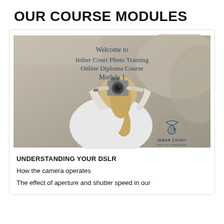OUR COURSE MODULES
[Figure (photo): A woman photographing outdoors with a DSLR camera, overlaid with text: Welcome to Imber Court Photo Training Online Diploma Course Module 1, and the Imber Court Photo Training logo in the bottom right corner.]
UNDERSTANDING YOUR DSLR
How the camera operates
The effect of aperture and shutter speed in our images